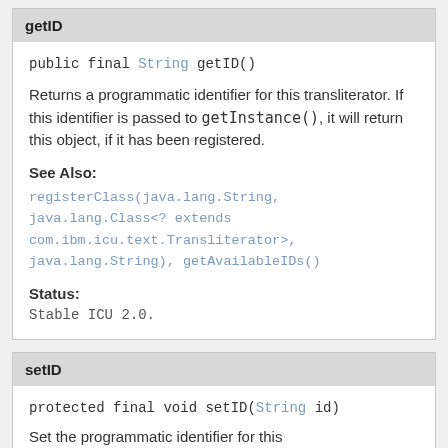getID
public final String getID()
Returns a programmatic identifier for this transliterator. If this identifier is passed to getInstance(), it will return this object, if it has been registered.
See Also:
registerClass(java.lang.String, java.lang.Class<? extends com.ibm.icu.text.Transliterator>, java.lang.String), getAvailableIDs()
Status:
Stable ICU 2.0.
setID
protected final void setID(String id)
Set the programmatic identifier for this